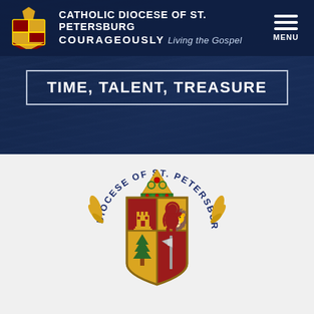[Figure (screenshot): Catholic Diocese of St. Petersburg website header with dark navy blue background, diocese coat of arms logo, site name, tagline 'COURAGEOUSLY Living the Gospel', hamburger menu icon with MENU label, and a banner box reading 'TIME, TALENT, TREASURE' over a blurred background image]
[Figure (logo): Diocese of St. Petersburg coat of arms / seal: circular text 'DIOCESE OF ST. PETERSBURG' arching over a heraldic shield with a mitre on top. Shield divided into four quadrants: top-left red with yellow tower/castle, top-right yellow with red rampant lion, bottom-left yellow with green pine tree, bottom-right red with gray/silver axe. Flanked by gold decorative elements.]